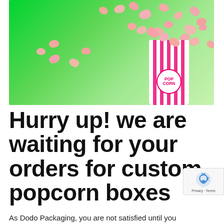[Figure (photo): Photo of a striped white and pink popcorn box tipped over on a bright green background, with pink/red popcorn pieces scattered around it. The box has 'POPCORN' written in a pink circular label.]
Hurry up! we are waiting for your orders for custom popcorn boxes
As Dodo Packaging, you are not satisfied until you